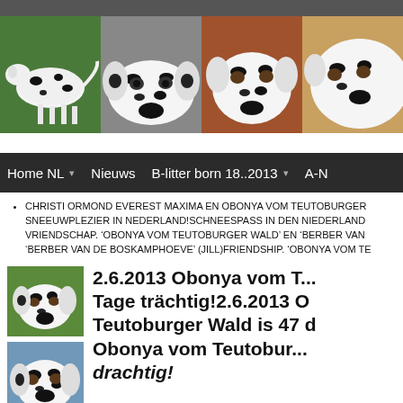[Figure (photo): Header photo strip showing four Dalmatian dogs side by side]
Home NL   Nieuws   B-litter born 18..2013   A-N
CHRISTI ORMOND EVEREST MAXIMA EN OBONYA VOM TEUTOBURGER SNEEUWPLEZIER IN NEDERLAND!SCHNEESPASS IN DEN NIEDERLAND VRIENDSCHAP. 'OBONYA VOM TEUTOBURGER WALD' EN 'BERBER VAN 'BERBER VAN DE BOSKAMPHOEVE' (JILL)FRIENDSHIP. 'OBONYA VOM TE
[Figure (photo): Two thumbnail photos of Dalmatian dogs]
2.6.2013 Obonya vom T... Tage trächtig!2.6.2013 O Teutoburger Wald is 47 d Obonya vom Teutobur... drachtig!